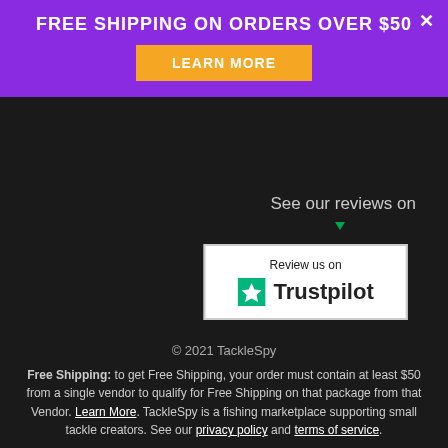FREE SHIPPING ON ORDERS OVER $50
See our reviews on
[Figure (logo): Trustpilot badge with green star and text 'Review us on Trustpilot']
© 2021 TackleSpy
Free Shipping: to get Free Shipping, your order must contain at least $50 from a single vendor to qualify for Free Shipping on that package from that Vendor. Learn More. TackleSpy is a fishing marketplace supporting small tackle creators. See our privacy policy and terms of service.